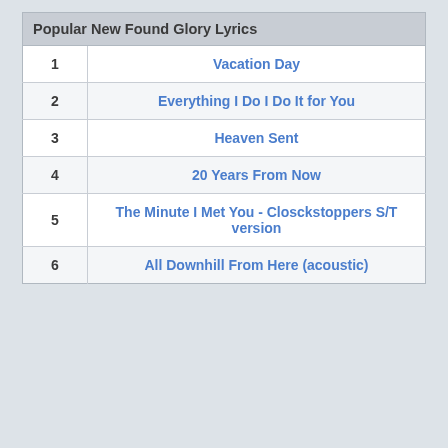|  | Popular New Found Glory Lyrics |
| --- | --- |
| 1 | Vacation Day |
| 2 | Everything I Do I Do It for You |
| 3 | Heaven Sent |
| 4 | 20 Years From Now |
| 5 | The Minute I Met You - Closckstoppers S/T version |
| 6 | All Downhill From Here (acoustic) |